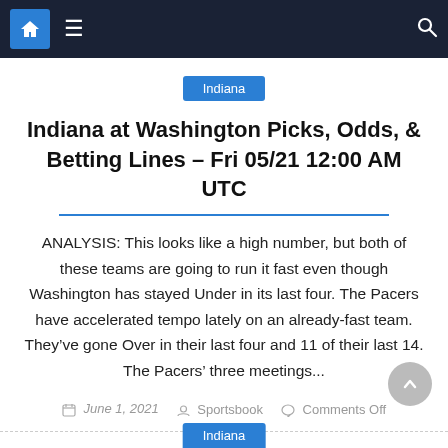Navigation bar with home, menu, and search icons
Indiana
Indiana at Washington Picks, Odds, & Betting Lines – Fri 05/21 12:00 AM UTC
ANALYSIS: This looks like a high number, but both of these teams are going to run it fast even though Washington has stayed Under in its last four. The Pacers have accelerated tempo lately on an already-fast team. They've gone Over in their last four and 11 of their last 14. The Pacers' three meetings...
June 1, 2021   Sportsbook   Comments Off
Indiana